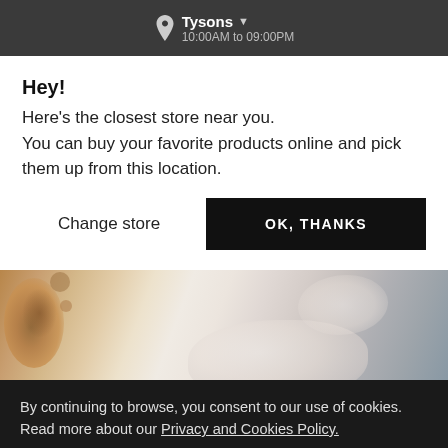Tysons 10:00AM to 09:00PM
Hey!
Here's the closest store near you.
You can buy your favorite products online and pick them up from this location.
Change store | OK, THANKS
[Figure (photo): Close-up photo of food surface, possibly a pastry or dessert with seeds/grains and foam/cream texture]
By continuing to browse, you consent to our use of cookies. Read more about our Privacy and Cookies Policy.
LET'S SHOP